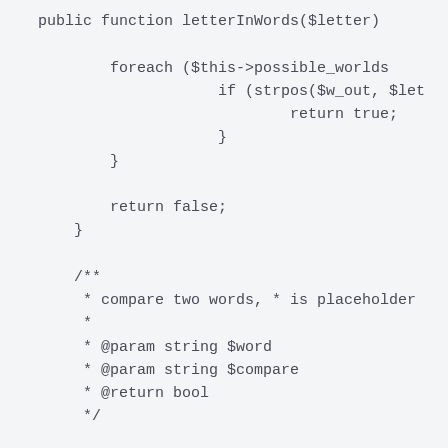public function letterInWords($letter)

        foreach ($this->possible_worlds
                    if (strpos($w_out, $let
                            return true;
                    }
        }

        return false;
    }

    /**
     * compare two words, * is placeholder
     *
     * @param string $word
     * @param string $compare
     * @return bool
     */